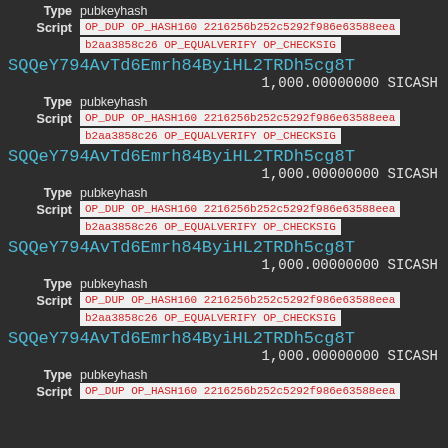Type pubkeyhash
Script OP_DUP OP_HASH160 2216256b252c5292f986e63588eeab2aa3858c26 OP_EQUALVERIFY OP_CHECKSIG
SQQeY794AvTd6Emrh84ByiHL2TRDh5cg8T
1,000.00000000 SICASH
Type pubkeyhash
Script OP_DUP OP_HASH160 2216256b252c5292f986e63588eeab2aa3858c26 OP_EQUALVERIFY OP_CHECKSIG
SQQeY794AvTd6Emrh84ByiHL2TRDh5cg8T
1,000.00000000 SICASH
Type pubkeyhash
Script OP_DUP OP_HASH160 2216256b252c5292f986e63588eeab2aa3858c26 OP_EQUALVERIFY OP_CHECKSIG
SQQeY794AvTd6Emrh84ByiHL2TRDh5cg8T
1,000.00000000 SICASH
Type pubkeyhash
Script OP_DUP OP_HASH160 2216256b252c5292f986e63588eeab2aa3858c26 OP_EQUALVERIFY OP_CHECKSIG
SQQeY794AvTd6Emrh84ByiHL2TRDh5cg8T
1,000.00000000 SICASH
Type pubkeyhash
Script